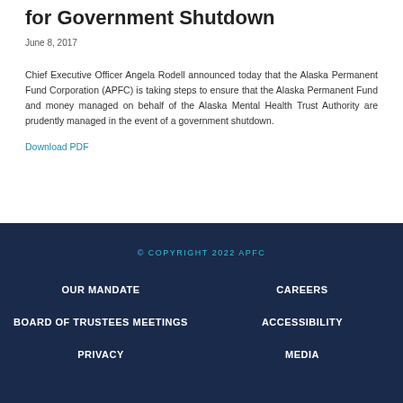for Government Shutdown
June 8, 2017
Chief Executive Officer Angela Rodell announced today that the Alaska Permanent Fund Corporation (APFC) is taking steps to ensure that the Alaska Permanent Fund and money managed on behalf of the Alaska Mental Health Trust Authority are prudently managed in the event of a government shutdown.
Download PDF
© COPYRIGHT 2022 APFC
OUR MANDATE
CAREERS
BOARD OF TRUSTEES MEETINGS
ACCESSIBILITY
PRIVACY
MEDIA